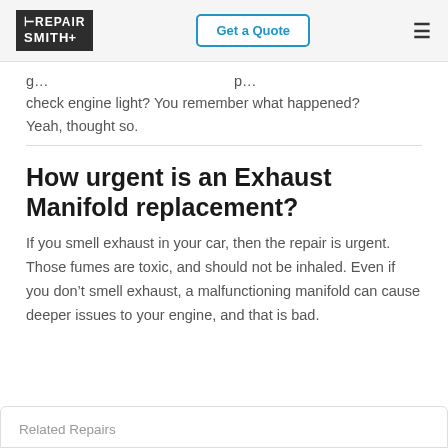RepairSmith | Get a Quote
g... check engine light? You remember what happened? Yeah, thought so.
How urgent is an Exhaust Manifold replacement?
If you smell exhaust in your car, then the repair is urgent. Those fumes are toxic, and should not be inhaled. Even if you don't smell exhaust, a malfunctioning manifold can cause deeper issues to your engine, and that is bad.
Related Repairs